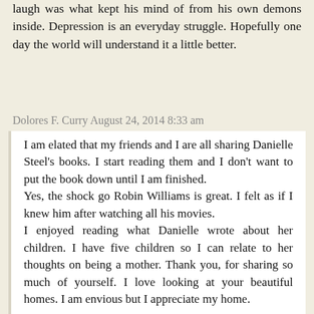laugh was what kept his mind of from his own demons inside. Depression is an everyday struggle. Hopefully one day the world will understand it a little better.
Dolores F. Curry August 24, 2014 8:33 am
I am elated that my friends and I are all sharing Danielle Steel's books. I start reading them and I don't want to put the book down until I am finished.
Yes, the shock go Robin Williams is great. I felt as if I knew him after watching all his movies.
I enjoyed reading what Danielle wrote about her children. I have five children so I can relate to her thoughts on being a mother. Thank you, for sharing so much of yourself. I love looking at your beautiful homes. I am envious but I appreciate my home.